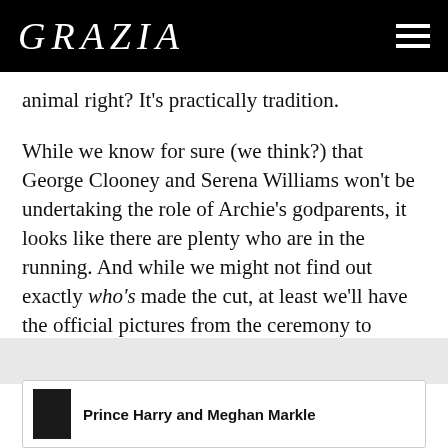GRAZIA
animal right? It's practically tradition.

While we know for sure (we think?) that George Clooney and Serena Williams won't be undertaking the role of Archie's godparents, it looks like there are plenty who are in the running. And while we might not find out exactly who's made the cut, at least we'll have the official pictures from the ceremony to aawww over soon....
Prince Harry and Meghan Markle